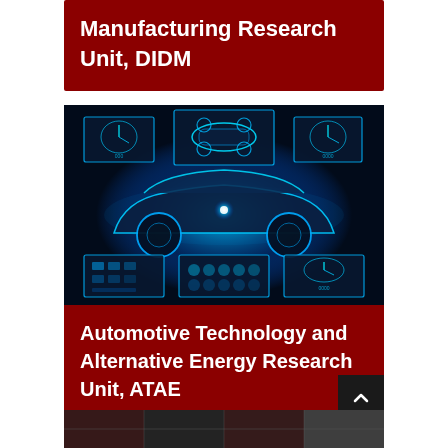Manufacturing Research Unit, DIDM
[Figure (photo): Glowing digital wireframe car surrounded by holographic dashboard panels showing gauges, controls, and vehicle schematics against a dark blue background.]
Automotive Technology and Alternative Energy Research Unit, ATAE
[Figure (photo): Partial view of another research unit image at the bottom of the page, showing machinery or industrial equipment.]